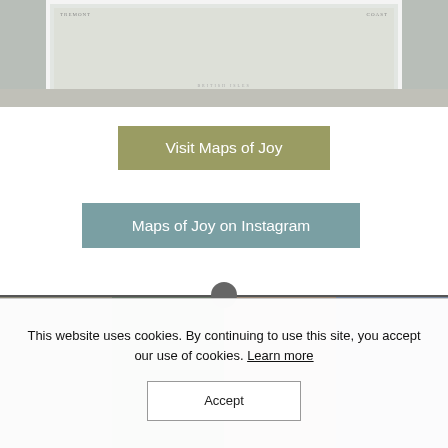[Figure (photo): Framed decorative map print hanging on a light wall, partially cropped at top of page]
Visit Maps of Joy
Maps of Joy on Instagram
This website uses cookies. By continuing to use this site, you accept our use of cookies. Learn more
Accept
[Figure (photo): Partially visible product/decorative images at bottom of page, cut off by cookie consent bar]